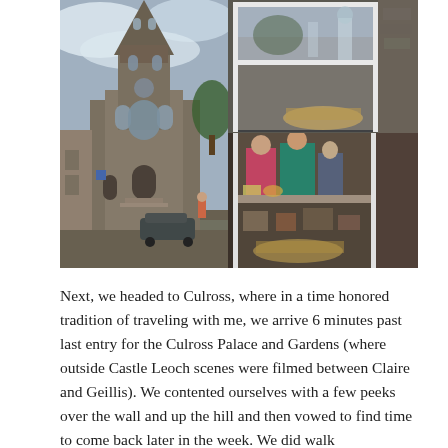[Figure (photo): Two side-by-side photographs: left shows a Gothic stone church with tall spire against a cloudy sky, with a car and person visible at street level; right shows two stacked images of a shop window display with white shelving units, glass figurines, and people browsing inside.]
Next, we headed to Culross, where in a time honored tradition of traveling with me, we arrive 6 minutes past last entry for the Culross Palace and Gardens (where outside Castle Leoch scenes were filmed between Claire and Geillis). We contented ourselves with a few peeks over the wall and up the hill and then vowed to find time to come back later in the week. We did walk